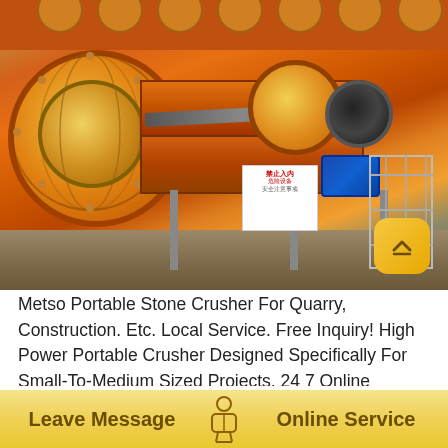[Figure (photo): Industrial mining/crushing machinery — a large orange ball mill drum on the left with a spiral auger/conveyor mechanism, connected to orange machinery body with pulleys, belt drives, and an electric motor. Metal safety fence visible on right. Safety sign on machinery. Industrial outdoor setting with dirt/gravel ground.]
Metso Portable Stone Crusher For Quarry, Construction. Etc. Local Service. Free Inquiry! High Power Portable Crusher Designed Specifically For Small-To-Medium Sized Projects. 24 7 Online Services Office Local Agency Full Tech Support Types Cone Crusher, Jaw Crusher, Impact Crusher Mobile Jaw Crusher High Flexibility, High Efficiency For Stone Ore Mineral Crushing Mobile Crushers
Leave Message   Online Service